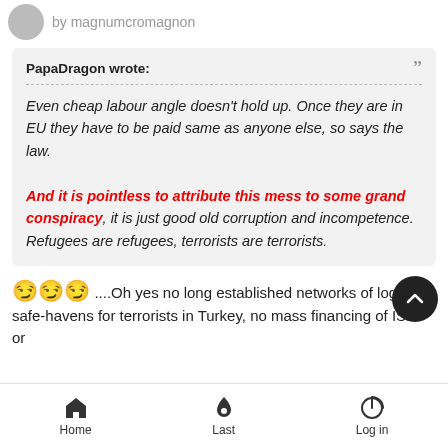by magnumcromagnon
PapaDragon wrote:
Even cheap labour angle doesn't hold up. Once they are in EU they have to be paid same as anyone else, so says the law.

And it is pointless to attribute this mess to some grand conspiracy, it is just good old corruption and incompetence. Refugees are refugees, terrorists are terrorists.
😏😏😏 ....Oh yes no long established networks of logistic safe-havens for terrorists in Turkey, no mass financing of ISIS or